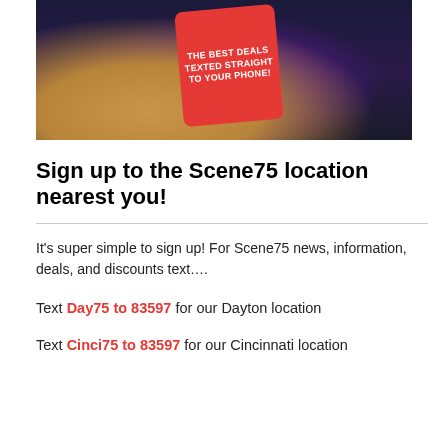[Figure (photo): A hand holding a smartphone with a red screen displaying 'THE BEST DEALS TEXTED STRAIGHT TO YOUR PHONE!' in white text, against a blurred colorful background.]
Sign up to the Scene75 location nearest you!
It's super simple to sign up! For Scene75 news, information, deals, and discounts text….
Text Day75 to 83597 for our Dayton location
Text Cinci75 to 83597 for our Cincinnati location